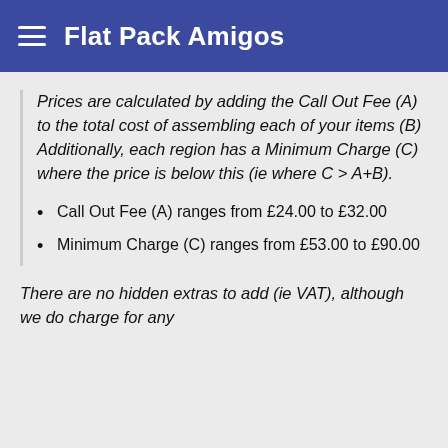Flat Pack Amigos
Prices are calculated by adding the Call Out Fee (A) to the total cost of assembling each of your items (B) Additionally, each region has a Minimum Charge (C) where the price is below this (ie where C > A+B).
Call Out Fee (A) ranges from £24.00 to £32.00
Minimum Charge (C) ranges from £53.00 to £90.00
There are no hidden extras to add (ie VAT), although we do charge for any